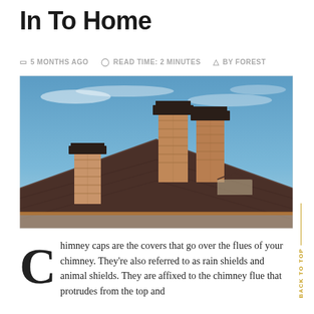In To Home
5 MONTHS AGO   READ TIME: 2 MINUTES   BY FOREST
[Figure (photo): Photograph of a house rooftop with multiple brick chimneys topped with dark metal chimney caps against a blue sky. The roof features dark brown metal tiles. Three chimneys are visible — one on the left side and two taller ones in the center.]
Chimney caps are the covers that go over the flues of your chimney. They're also referred to as rain shields and animal shields. They are affixed to the chimney flue that protrudes from the top and